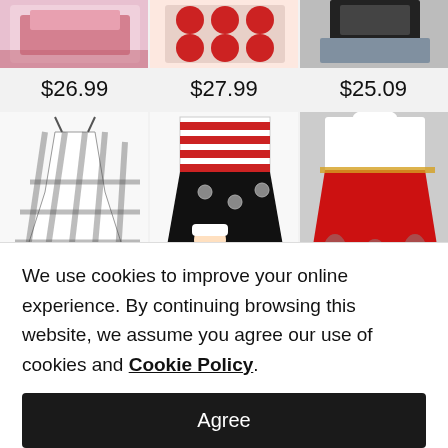[Figure (photo): Three product images of Christmas dresses at top, partially cropped]
$26.99    $27.99    $25.09
[Figure (photo): Three product images: black/white plaid dress, red-striped top with Santa skirt, red Christmas dog-print dress]
We use cookies to improve your online experience. By continuing browsing this website, we assume you agree our use of cookies and Cookie Policy.
Agree